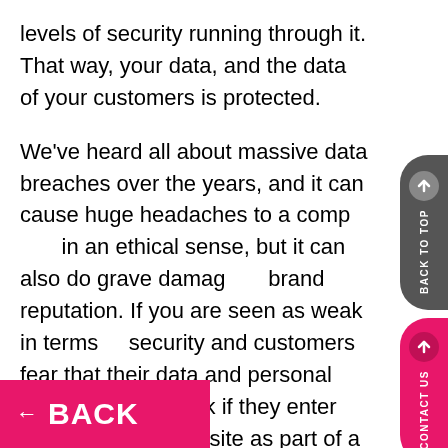levels of security running through it. That way, your data, and the data of your customers is protected.
We've heard all about massive data breaches over the years, and it can cause huge headaches to a company in an ethical sense, but it can also do grave damage to brand reputation. If you are seen as weak in terms of security and customers fear that their data and personal information is at risk if they enter details on your website as part of a transaction of any kind, they are less likely to trust you and become a customer at all, let alone a loyal, long-term customer.
Small and growing businesses need to find a cost-effective solution to provide robust website security. Think about it; a WordPress site that has been hacked could have serious damage and business results and...